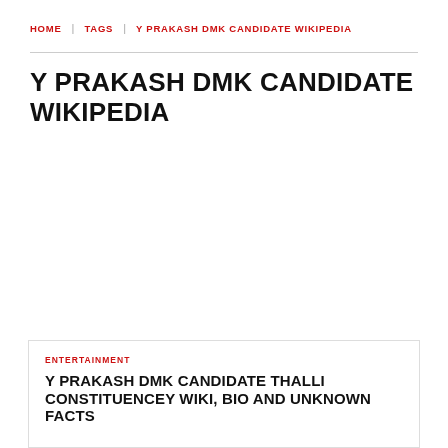HOME | TAGS | Y PRAKASH DMK CANDIDATE WIKIPEDIA
Y PRAKASH DMK CANDIDATE WIKIPEDIA
ENTERTAINMENT
Y PRAKASH DMK CANDIDATE THALLI CONSTITUENCEY WIKI, BIO AND UNKNOWN FACTS